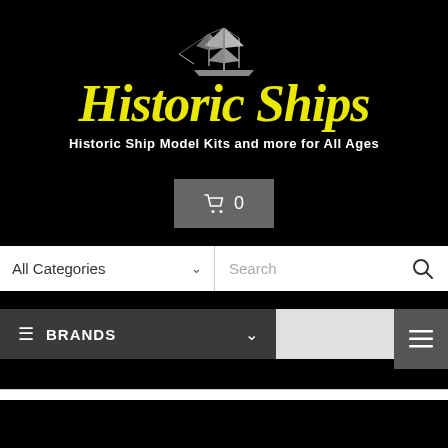[Figure (logo): Historic Ships logo with sailing ship illustration above italic yellow text 'Historic Ships' on black background]
Historic Ship Model Kits and more for All Ages
[Figure (other): Shopping cart button with cart icon and number 0]
[Figure (other): Search bar with 'All Categories' dropdown on left and 'Search' input with magnifying glass icon on right]
[Figure (other): Navigation bar with dark 'BRANDS' menu with hamburger icon and chevron, and a menu icon box on the right]